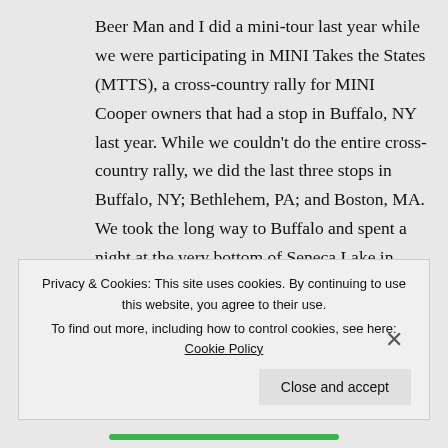Beer Man and I did a mini-tour last year while we were participating in MINI Takes the States (MTTS), a cross-country rally for MINI Cooper owners that had a stop in Buffalo, NY last year. While we couldn't do the entire cross-country rally, we did the last three stops in Buffalo, NY; Bethlehem, PA; and Boston, MA. We took the long way to Buffalo and spent a night at the very bottom of Seneca Lake in Watkins Glen. As we were leaving Watkins Glen to head to Buffalo we stopped at several wineries
Privacy & Cookies: This site uses cookies. By continuing to use this website, you agree to their use.
To find out more, including how to control cookies, see here: Cookie Policy